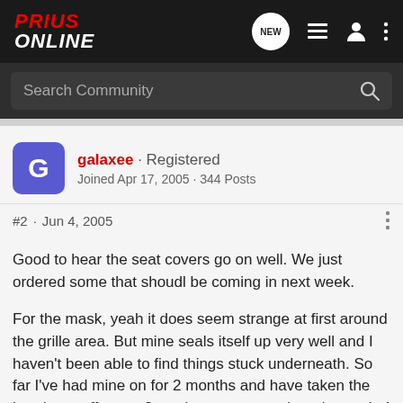Prius Online
Search Community
galaxee · Registered
Joined Apr 17, 2005 · 344 Posts
#2 · Jun 4, 2005
Good to hear the seat covers go on well. We just ordered some that shoudl be coming in next week.

For the mask, yeah it does seem strange at first around the grille area. But mine seals itself up very well and I haven't been able to find things stuck underneath. So far I've had mine on for 2 months and have taken the hood part off every 2 weeks or so to wash underneath. I figure for the rest, it'll come off every 6 months for a wax job. We have that ToyoGuard Sealant Cleaner